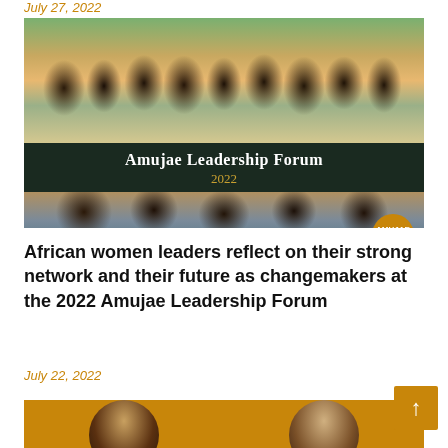July 27, 2022
[Figure (photo): Group photo of African women leaders at the Amujae Leadership Forum 2022, with a banner overlay reading 'Amujae Leadership Forum 2022', and a second photo showing women seated at a conference table.]
African women leaders reflect on their strong network and their future as changemakers at the 2022 Amujae Leadership Forum
July 22, 2022
[Figure (photo): Two circular portrait photos of individuals on a golden/amber background, partially visible at the bottom of the page.]